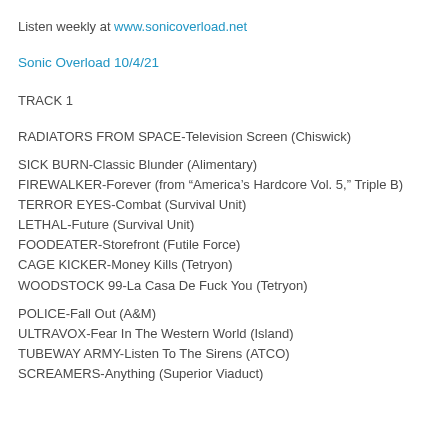Listen weekly at www.sonicoverload.net
Sonic Overload 10/4/21
TRACK 1
RADIATORS FROM SPACE-Television Screen (Chiswick)
SICK BURN-Classic Blunder (Alimentary)
FIREWALKER-Forever (from “America’s Hardcore Vol. 5,” Triple B)
TERROR EYES-Combat (Survival Unit)
LETHAL-Future (Survival Unit)
FOODEATER-Storefront (Futile Force)
CAGE KICKER-Money Kills (Tetryon)
WOODSTOCK 99-La Casa De Fuck You (Tetryon)
POLICE-Fall Out (A&M)
ULTRAVOX-Fear In The Western World (Island)
TUBEWAY ARMY-Listen To The Sirens (ATCO)
SCREAMERS-Anything (Superior Viaduct)